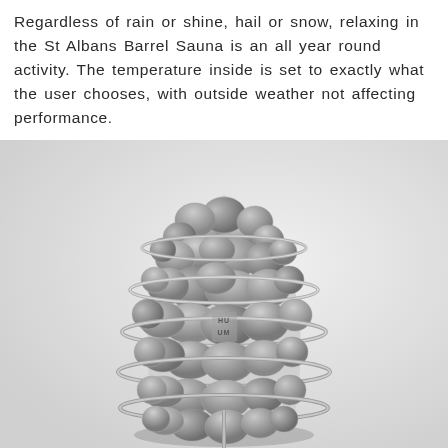Regardless of rain or shine, hail or snow, relaxing in the St Albans Barrel Sauna is an all year round activity. The temperature inside is set to exactly what the user chooses, with outside weather not affecting performance.
[Figure (photo): Black and white photograph of a sauna heater (HUUM brand) filled with rounded grey stones, held in a conical metal wire cage/basket structure, photographed against a light grey background.]